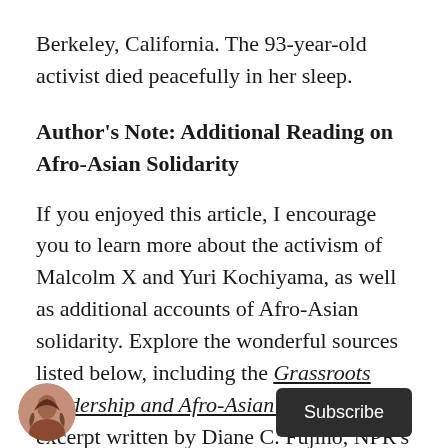Berkeley, California. The 93-year-old activist died peacefully in her sleep.
Author's Note: Additional Reading on Afro-Asian Solidarity
If you enjoyed this article, I encourage you to learn more about the activism of Malcolm X and Yuri Kochiyama, as well as additional accounts of Afro-Asian solidarity. Explore the wonderful sources listed below, including the Grassroots Leadership and Afro-Asian Solidarities excerpt written by Diane C. Fujino, NPR's popular 'Code Switch' podcast